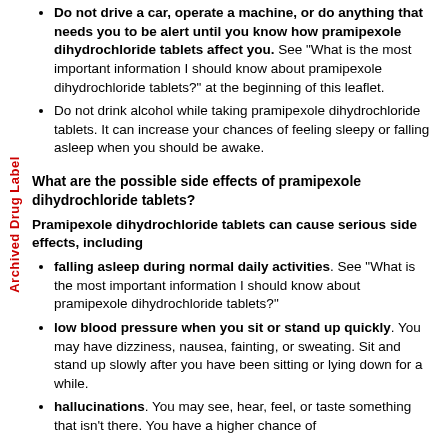Archived Drug Label
Do not drive a car, operate a machine, or do anything that needs you to be alert until you know how pramipexole dihydrochloride tablets affect you. See "What is the most important information I should know about pramipexole dihydrochloride tablets?" at the beginning of this leaflet.
Do not drink alcohol while taking pramipexole dihydrochloride tablets. It can increase your chances of feeling sleepy or falling asleep when you should be awake.
What are the possible side effects of pramipexole dihydrochloride tablets?
Pramipexole dihydrochloride tablets can cause serious side effects, including
falling asleep during normal daily activities. See "What is the most important information I should know about pramipexole dihydrochloride tablets?"
low blood pressure when you sit or stand up quickly. You may have dizziness, nausea, fainting, or sweating. Sit and stand up slowly after you have been sitting or lying down for a while.
hallucinations. You may see, hear, feel, or taste something that isn't there. You have a higher chance of